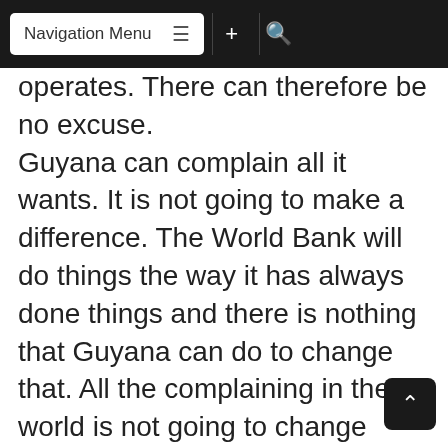Navigation Menu
operates. There can therefore be no excuse. Guyana can complain all it wants. It is not going to make a difference. The World Bank will do things the way it has always done things and there is nothing that Guyana can do to change that. All the complaining in the world is not going to change anything. At the same time, however, Guyana does not have to take this sort of treatment. Norway is not doing anything free for Guyana. The funds that are awaiting disbursement are not a gift to Guyana. Guyana is not being given any free lunches